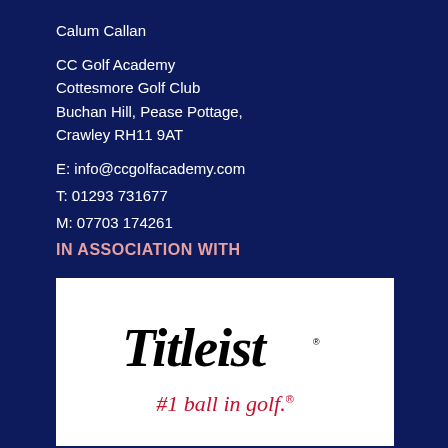Calum Callan
CC Golf Academy
Cottesmore Golf Club
Buchan Hill, Pease Pottage,
Crawley RH11 9AT
E: info@ccgolfacademy.com
T: 01293 731677
M: 07703 174261
IN ASSOCIATION WITH
[Figure (logo): Titleist logo with cursive 'Titleist' text in black and '#1 ball in golf.' tagline in red, on white background]